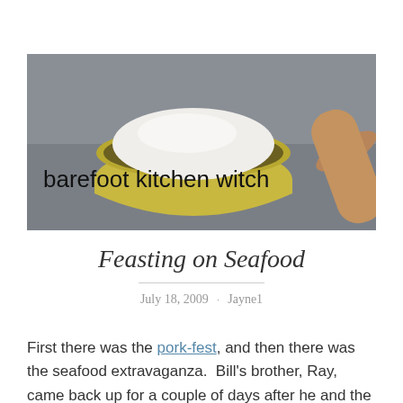[Figure (photo): Blog header banner photo showing a yellow bowl filled with white flour/powder on a grey countertop with a wooden rolling pin to the right. Text overlay reads 'barefoot kitchen witch' in a handwritten-style dark font.]
Feasting on Seafood
July 18, 2009 · Jayne1
First there was the pork-fest, and then there was the seafood extravaganza.  Bill's brother, Ray, came back up for a couple of days after he and the rest of them headed down to CT to visit with Nina's part of the family late